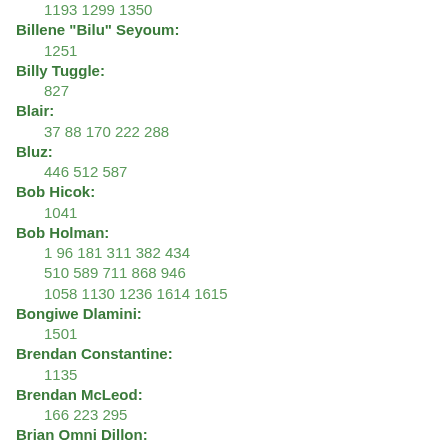1193 1299 1350
Billene "Bilu" Seyoum: 1251
Billy Tuggle: 827
Blair: 37 88 170 222 288
Bluz: 446 512 587
Bob Hicok: 1041
Bob Holman: 1 96 181 311 382 434 510 589 711 868 946 1058 1130 1236 1614 1615
Bongiwe Dlamini: 1501
Brendan Constantine: 1135
Brendan McLeod: 166 223 295
Brian Omni Dillon: 732 734 736 848 862 907 937 999
Bran Dykstra: 791
Brian S. Ellis: 506 822 1267
Buddy Wakefield: